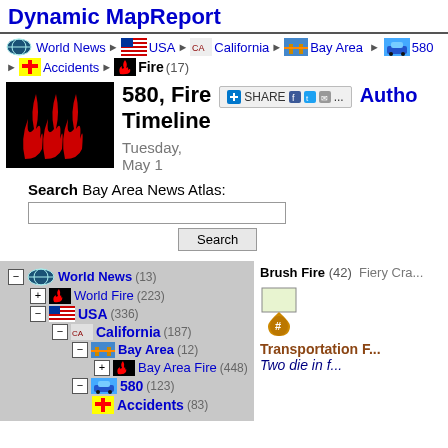Dynamic MapReport
World News ▶ USA ▶ California ▶ Bay Area ▶ 580 ▶ Accidents ▶ Fire (17)
580, Fire Timeline — Tuesday, May 1
Search Bay Area News Atlas:
Search
World News (13)
+ World Fire (223)
- USA (336)
  - California (187)
    - Bay Area (12)
      + Bay Area Fire (448)
    - 580 (123)
      + Accidents (83)
Brush Fire (42)  Fiery Cra... Transportation F... Two die in f...